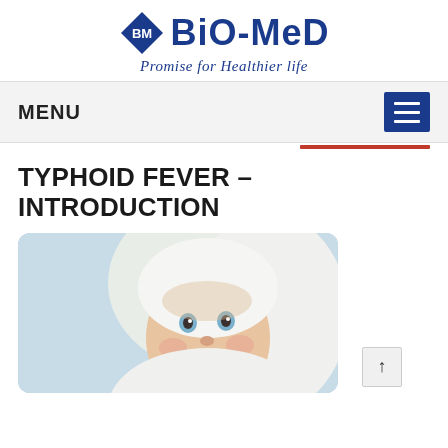[Figure (logo): Bio-Med logo with diamond BM icon and tagline 'Promise for Healthier life']
MENU
TYPHOID FEVER – INTRODUCTION
[Figure (photo): Photo of a baby wrapped in a white hooded towel, looking upward with blue eyes]